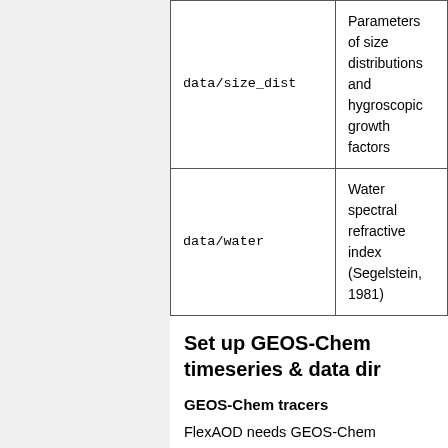| Path | Description |
| --- | --- |
| data/size_dist | Parameters of size distributions and hygroscopic growth factors |
| data/water | Water spectral refractive index (Segelstein, 1981) |
Set up GEOS-Chem timeseries & data dir
GEOS-Chem tracers
FlexAOD needs GEOS-Chem timeseries in input (instantaneous (ND49) or satellite (ND51)). There is a minimum set of tracers to be saved in output timeseries: